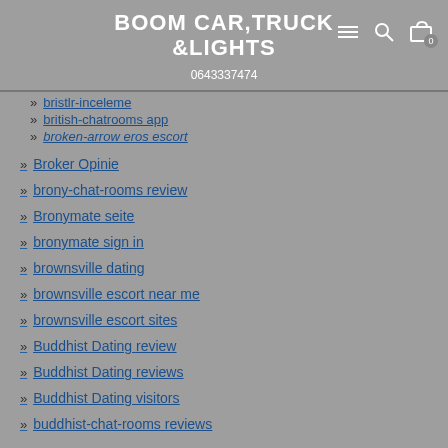BOOM CAR,TRUCK &LIGHTS
0643337474
bristlr-inceleme
british-chatrooms app
broken-arrow eros escort
Broker Opinie
brony-chat-rooms review
Bronymate seite
bronymate sign in
brownsville dating
brownsville escort near me
brownsville escort sites
Buddhist Dating review
Buddhist Dating reviews
Buddhist Dating visitors
buddhist-chat-rooms reviews